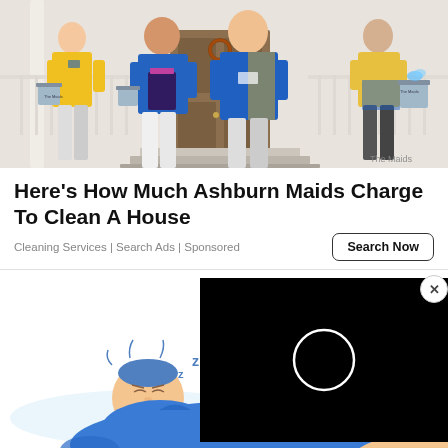[Figure (photo): Group of four cleaning service workers (maids) in blue and yellow uniforms standing in front of a house entrance, some holding cleaning supplies and buckets. Text 'The Maids' visible on equipment.]
Here's How Much Ashburn Maids Charge To Clean A House
Cleaning Services | Search Ads | Sponsored
[Figure (screenshot): A partial illustration of a sleeping person wearing blue, with a video player overlay on the right showing a black screen with a white circle (play button outline). A close (X) button appears in the upper right corner of the video overlay.]